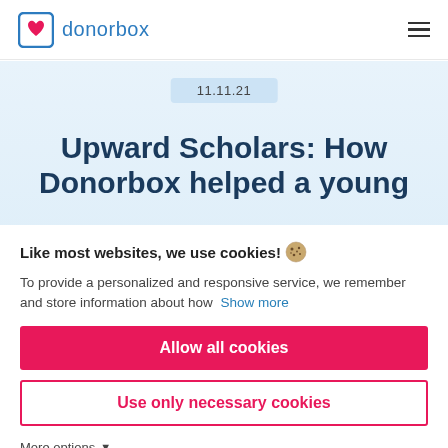donorbox
11.11.21
Upward Scholars: How Donorbox helped a young
Like most websites, we use cookies! 🍪
To provide a personalized and responsive service, we remember and store information about how  Show more
Allow all cookies
Use only necessary cookies
More options ▾